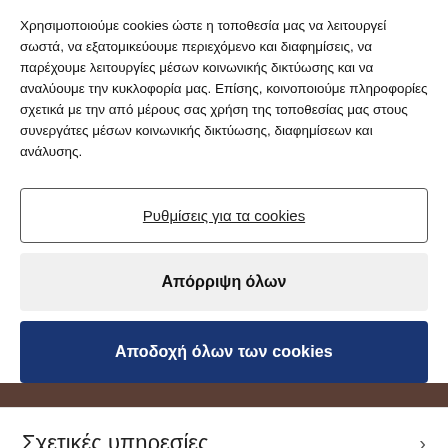Χρησιμοποιούμε cookies ώστε η τοποθεσία μας να λειτουργεί σωστά, να εξατομικεύουμε περιεχόμενο και διαφημίσεις, να παρέχουμε λειτουργίες μέσων κοινωνικής δικτύωσης και να αναλύουμε την κυκλοφορία μας. Επίσης, κοινοποιούμε πληροφορίες σχετικά με την από μέρους σας χρήση της τοποθεσίας μας στους συνεργάτες μέσων κοινωνικής δικτύωσης, διαφημίσεων και ανάλυσης.
Ρυθμίσεις για τα cookies
Απόρριψη όλων
Αποδοχή όλων των cookies
Σχετικές υπηρεσίες
Σχετικές βιομηχανίες